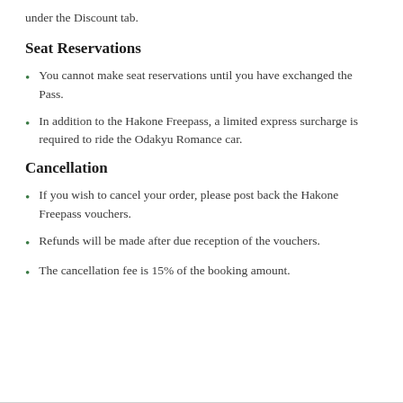under the Discount tab.
Seat Reservations
You cannot make seat reservations until you have exchanged the Pass.
In addition to the Hakone Freepass, a limited express surcharge is required to ride the Odakyu Romance car.
Cancellation
If you wish to cancel your order, please post back the Hakone Freepass vouchers.
Refunds will be made after due reception of the vouchers.
The cancellation fee is 15% of the booking amount.